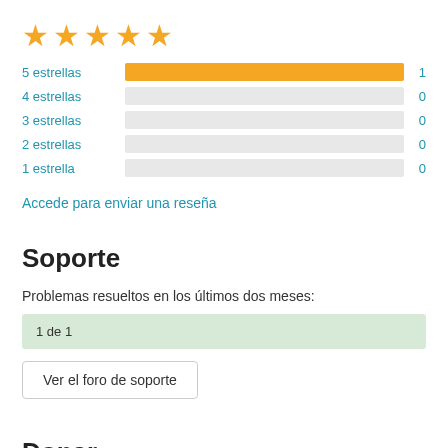[Figure (other): Five gold star rating icons]
[Figure (bar-chart): Star rating distribution]
Accede para enviar una reseña
Soporte
Problemas resueltos en los últimos dos meses:
1 de 1
Ver el foro de soporte
Donar